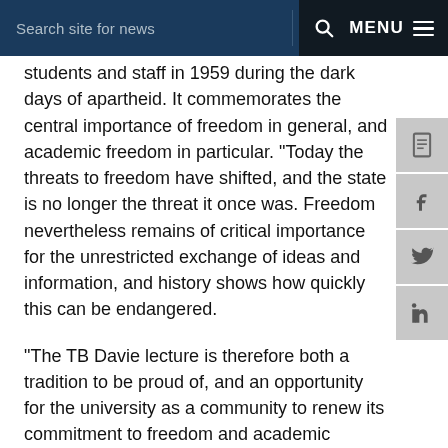Search site for news  MENU
students and staff in 1959 during the dark days of apartheid. It commemorates the central importance of freedom in general, and academic freedom in particular. "Today the threats to freedom have shifted, and the state is no longer the threat it once was. Freedom nevertheless remains of critical importance for the unrestricted exchange of ideas and information, and history shows how quickly this can be endangered.
"The TB Davie lecture is therefore both a tradition to be proud of, and an opportunity for the university as a community to renew its commitment to freedom and academic freedom."
Guest speakers have come from around the world to add their thoughts, their lectures mirroring a society, continent and world in flux.
In 1959, former chief justice and UCT chancellor, Albert